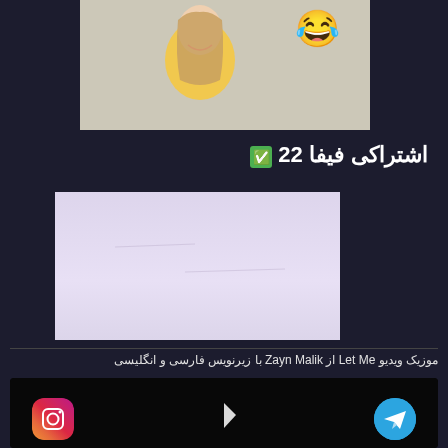[Figure (photo): Woman with blonde hair wearing yellow jacket, laughing emoji in top right corner, on crumpled paper background]
اشتراکی فیفا 22 ✅
[Figure (photo): Light purple/lavender sky or background image]
موزیک ویدیو Let Me از Zayn Malik با زیرنویس فارسی و انگلیسی
[Figure (screenshot): Dark video player with Instagram logo on bottom left and Telegram logo on bottom right, cursor visible in center]